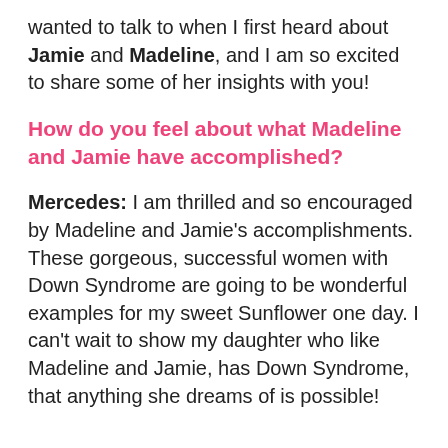wanted to talk to when I first heard about Jamie and Madeline, and I am so excited to share some of her insights with you!
How do you feel about what Madeline and Jamie have accomplished?
Mercedes: I am thrilled and so encouraged by Madeline and Jamie's accomplishments. These gorgeous, successful women with Down Syndrome are going to be wonderful examples for my sweet Sunflower one day. I can't wait to show my daughter who like Madeline and Jamie, has Down Syndrome, that anything she dreams of is possible!